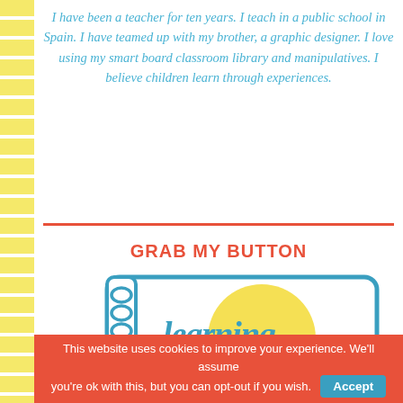I have been a teacher for ten years. I teach in a public school in Spain. I have teamed up with my brother, a graphic designer. I love using my smart board classroom library and manipulatives. I believe children learn through experiences.
GRAB MY BUTTON
[Figure (logo): Learning in notebook logo with teal spiral-bound notebook illustration, yellow circle, and cursive blue 'learning in' text]
This website uses cookies to improve your experience. We'll assume you're ok with this, but you can opt-out if you wish. Accept